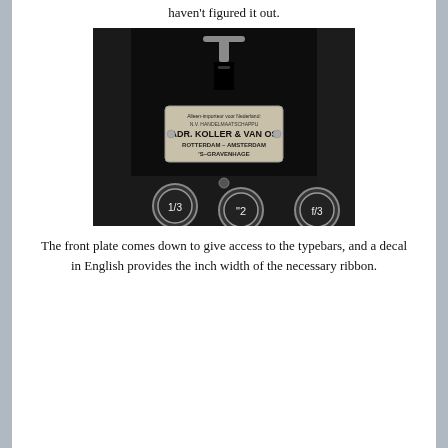haven't figured it out.
[Figure (photo): Close-up photo of a black typewriter front panel showing a metal dealer plate reading: Alleen-importeur voor Nederland: N.V. HANDELMAATSCHAPPU ADR. KOLLER & VAN OS ROTTERDAM - AMSTERDAM 'S-GRAVENHAGE. Below the plate are visible typewriter keys with characters 1/3, 2, and f/3.]
The front plate comes down to give access to the typebars, and a decal in English provides the inch width of the necessary ribbon.